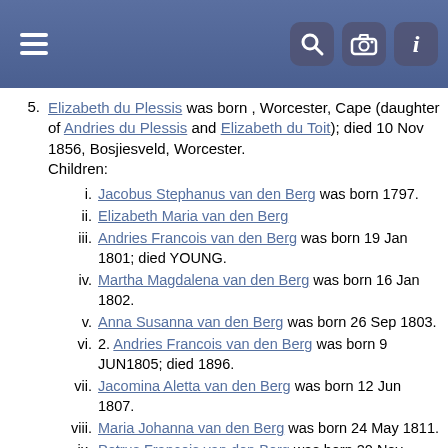Navigation bar with hamburger menu and search/camera/info icons
5. Elizabeth du Plessis was born , Worcester, Cape (daughter of Andries du Plessis and Elizabeth du Toit); died 10 Nov 1856, Bosjiesveld, Worcester. Children: i. Jacobus Stephanus van den Berg was born 1797. ii. Elizabeth Maria van den Berg iii. Andries Francois van den Berg was born 19 Jan 1801; died YOUNG. iv. Martha Magdalena van den Berg was born 16 Jan 1802. v. Anna Susanna van den Berg was born 26 Sep 1803. vi. 2. Andries Francois van den Berg was born 9 JUN1805; died 1896. vii. Jacomina Aletta van den Berg was born 12 Jun 1807. viii. Maria Johanna van den Berg was born 24 May 1811. ix. Petrus Francois van den Berg was born 20 Nov 1813. x. Willem Daniel van den Berg was born 6 Sep 1815. xi. Charl Christoffel van den Berg
Generation: 4
8. Jacobus van den Berg was born 1727, Swellendam, Cape (son